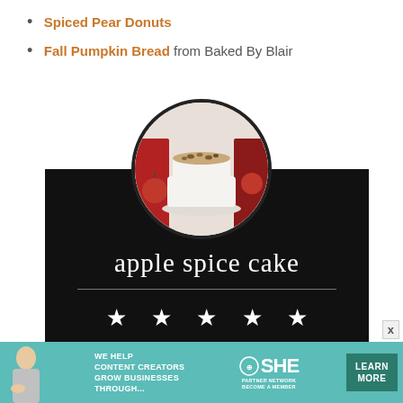Spiced Pear Donuts
Fall Pumpkin Bread from Baked By Blair
[Figure (photo): Circular cropped photo of a white layered apple spice cake with nut topping on a cake stand, surrounded by apples and red cloth, displayed on a dark card background.]
apple spice cake
[Figure (infographic): Five white star rating symbols on black background]
WE HELP CONTENT CREATORS GROW BUSINESSES THROUGH... SHE PARTNER NETWORK BECOME A MEMBER LEARN MORE